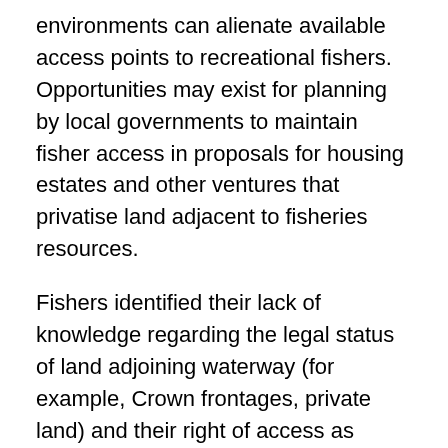environments can alienate available access points to recreational fishers. Opportunities may exist for planning by local governments to maintain fisher access in proposals for housing estates and other ventures that privatise land adjacent to fisheries resources.
Fishers identified their lack of knowledge regarding the legal status of land adjoining waterway (for example, Crown frontages, private land) and their right of access as important issues. In its policy, Access for Recreational Fishing (VRFish 2004), VRFish reviewed this issue and made a number of recommendations to improve fisher understanding of access issues across the